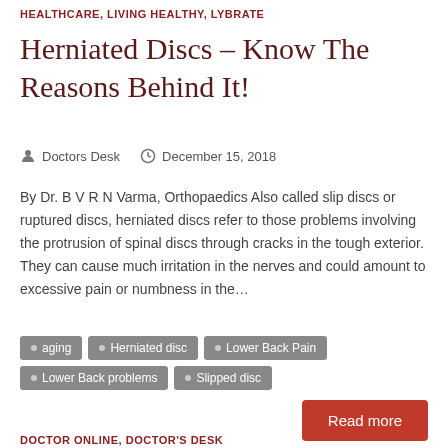HEALTHCARE, LIVING HEALTHY, LYBRATE
Herniated Discs – Know The Reasons Behind It!
Doctors Desk   December 15, 2018
By Dr. B V R N Varma, Orthopaedics Also called slip discs or ruptured discs, herniated discs refer to those problems involving the protrusion of spinal discs through cracks in the tough exterior. They can cause much irritation in the nerves and could amount to excessive pain or numbness in the…
aging
Herniated disc
Lower Back Pain
Lower Back problems
Slipped disc
Read more
DOCTOR ONLINE, DOCTOR'S DESK